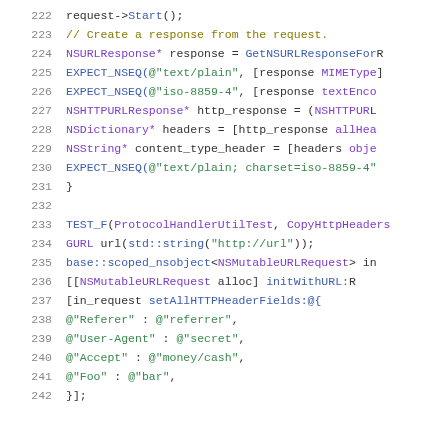Source code listing, lines 222-242, showing Objective-C/C++ test code for URL response and HTTP header handling.